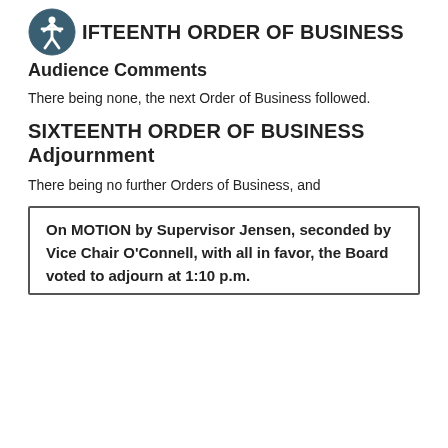FIFTEENTH ORDER OF BUSINESS
Audience Comments
There being none, the next Order of Business followed.
SIXTEENTH ORDER OF BUSINESS
Adjournment
There being no further Orders of Business, and
On MOTION by Supervisor Jensen, seconded by Vice Chair O'Connell, with all in favor, the Board voted to adjourn at 1:10 p.m.